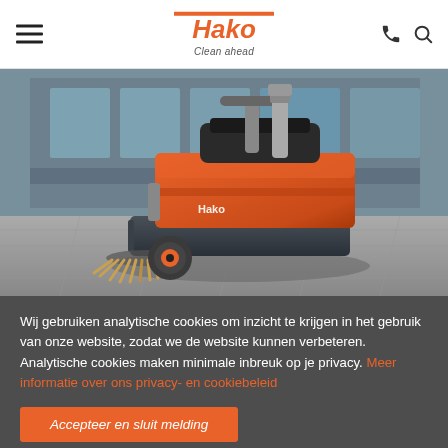Hako - Clean ahead
[Figure (photo): Hako industrial ride-on sweeper machine in orange and dark grey, parked on a paved outdoor area in front of a building with glass facade. The machine has a brush attachment on the front-left side, large rubber wheels, and a driver seat.]
Wij gebruiken analytische cookies om inzicht te krijgen in het gebruik van onze website, zodat we de website kunnen verbeteren. Analytische cookies maken minimale inbreuk op je privacy. Meer informatie over ons privacy- en cookiebeleid
Accepteer en sluit melding